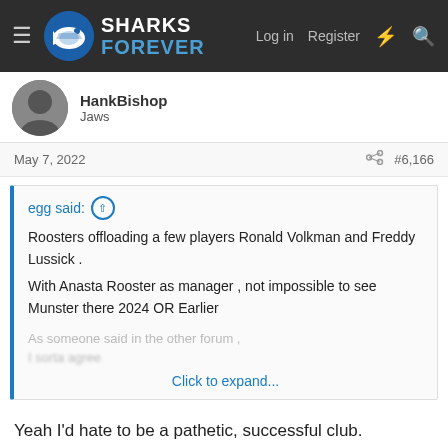Sharks Forever — Log in  Register
HankBishop
Jaws
May 7, 2022  #6,166
egg said:
Roosters offloading a few players Ronald Volkman and Freddy Lussick .
With Anasta Rooster as manager , not impossible to see Munster there 2024 OR Earlier
As someone said in the other forum ,
I sorta agree
Click to expand...
Yeah I'd hate to be a pathetic, successful club.
Capital_Shark